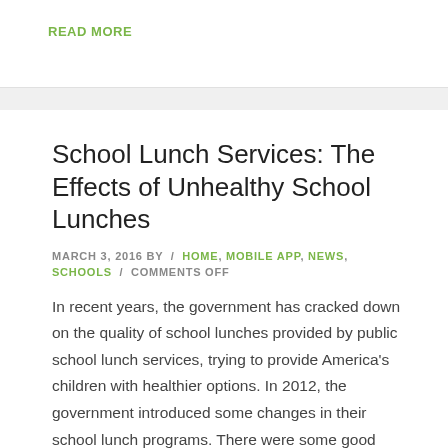READ MORE
School Lunch Services: The Effects of Unhealthy School Lunches
MARCH 3, 2016 BY / HOME, MOBILE APP, NEWS, SCHOOLS / COMMENTS OFF
In recent years, the government has cracked down on the quality of school lunches provided by public school lunch services, trying to provide America's children with healthier options. In 2012, the government introduced some changes in their school lunch programs. There were some good updates like the inclusion of healthy fruits in the meal, lowering [...]